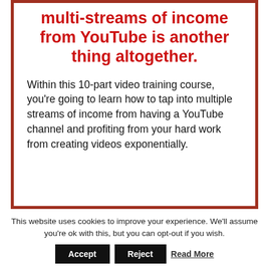multi-streams of income from YouTube is another thing altogether.
Within this 10-part video training course, you're going to learn how to tap into multiple streams of income from having a YouTube channel and profiting from your hard work from creating videos exponentially.
This website uses cookies to improve your experience. We'll assume you're ok with this, but you can opt-out if you wish. Accept Reject Read More